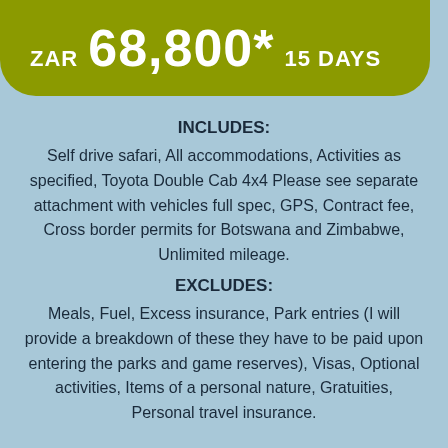ZAR 68,800* 15 DAYS
INCLUDES:
Self drive safari, All accommodations, Activities as specified, Toyota Double Cab 4x4 Please see separate attachment with vehicles full spec, GPS, Contract fee, Cross border permits for Botswana and Zimbabwe, Unlimited mileage.
EXCLUDES:
Meals, Fuel, Excess insurance, Park entries (I will provide a breakdown of these they have to be paid upon entering the parks and game reserves), Visas, Optional activities, Items of a personal nature, Gratuities, Personal travel insurance.